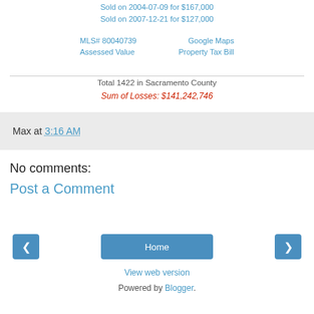Sold on 2004-07-09 for $167,000
Sold on 2007-12-21 for $127,000
MLS# 80040739   Google Maps
Assessed Value   Property Tax Bill
Total 1422 in Sacramento County
Sum of Losses: $141,242,746
Max at 3:16 AM
No comments:
Post a Comment
Home
View web version
Powered by Blogger.